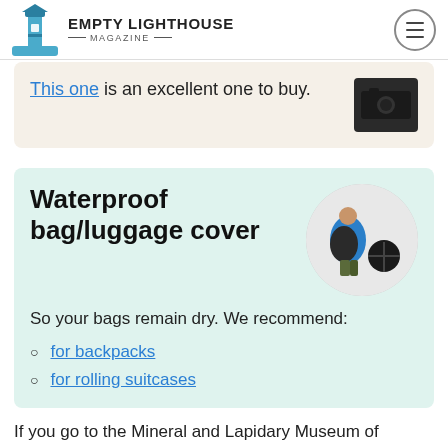EMPTY LIGHTHOUSE MAGAZINE
This one is an excellent one to buy.
Waterproof bag/luggage cover
[Figure (photo): Person wearing a blue jacket with a backpack rain cover, and separate rain cover items shown]
So your bags remain dry. We recommend:
for backpacks
for rolling suitcases
If you go to the Mineral and Lapidary Museum of